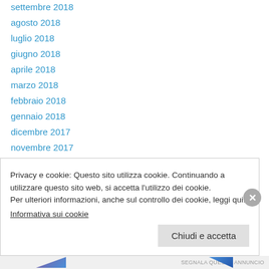settembre 2018
agosto 2018
luglio 2018
giugno 2018
aprile 2018
marzo 2018
febbraio 2018
gennaio 2018
dicembre 2017
novembre 2017
ottobre 2017
settembre 2017
agosto 2017
Privacy e cookie: Questo sito utilizza cookie. Continuando a utilizzare questo sito web, si accetta l'utilizzo dei cookie.
Per ulteriori informazioni, anche sul controllo dei cookie, leggi qui:
Informativa sui cookie
Chiudi e accetta